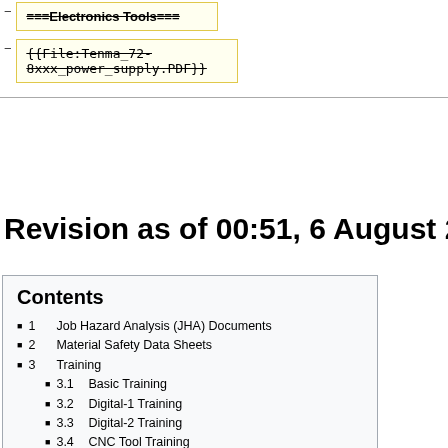===Electronics Tools===
{{File:Tenma_72-8xxx_power_supply.PDF}}
Revision as of 00:51, 6 August 2017
Contents
1  Job Hazard Analysis (JHA) Documents
2  Material Safety Data Sheets
3  Training
3.1  Basic Training
3.2  Digital-1 Training
3.3  Digital-2 Training
3.4  CNC Tool Training
3.5  Metal-1 Training
3.6  Metal-2 Training
3.7  Wood-1 Training
3.8  Wood-2 Training
3.9  Electronics Training